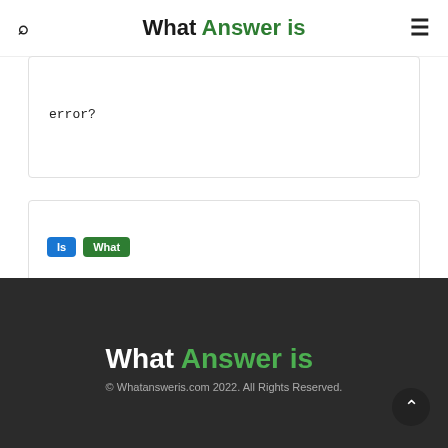What Answer is
error?
Is  What
What is Justice in Diversity?
What is Justice in Diversity?
What Answer is
© Whatansweris.com 2022. All Rights Reserved.